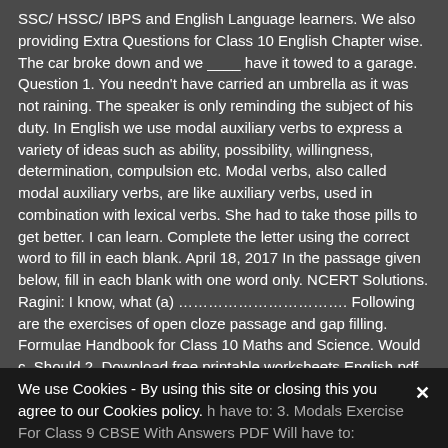SSC/ HSSC/ IBPS and English Language learners. We also providing Extra Questions for Class 10 English Chapter wise. The car broke down and we ____ have it towed to a garage. Question 1. You needn't have carried an umbrella as it was not raining. The speaker is only reminding the subject of his duty. In English we use modal auxiliary verbs to express a variety of ideas such as ability, possibility, willingness, determination, compulsion etc. Modal verbs, also called modal auxiliary verbs, are like auxiliary verbs, used in combination with lexical verbs. She had to take those pills to get better. I can learn. Complete the letter using the correct word to fill in each blank. April 18, 2017 In the passage given below, fill in each blank with one word only. NCERT Solutions. Ragini: I know, what (a) ……………………………. Following are the exercises of open cloze passage and gap filling. Formulae Handbook for Class 10 Maths and Science. Would c. Should 2. Download free printable worksheets English pdf of CBSE and kendriya vidyalaya Schools as per latest syllabus in pdf, CBSE Class 8 English Worksheet - Modals (1). Save my name, email, and website in this browser for the next time I comment. Although Daniel is an obedient child, he ____ be rebellious at times. You will have to work very hard to stand first.
We use Cookies - By using this site or closing this you agree to our Cookies policy. 3. Modals Exercise For Class 9 CBSE With Answers PDF Will have to: